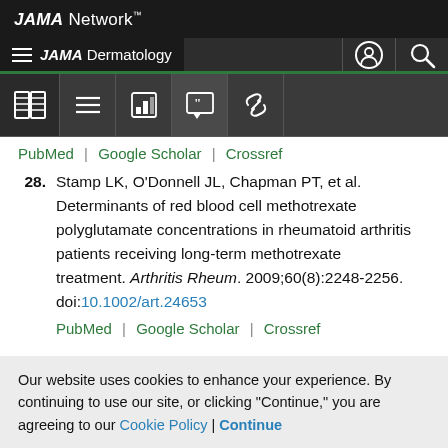JAMA Network
JAMA Dermatology
PubMed | Google Scholar | Crossref
28. Stamp LK, O'Donnell JL, Chapman PT, et al. Determinants of red blood cell methotrexate polyglutamate concentrations in rheumatoid arthritis patients receiving long-term methotrexate treatment. Arthritis Rheum. 2009;60(8):2248-2256. doi:10.1002/art.24653
PubMed | Google Scholar | Crossref
Our website uses cookies to enhance your experience. By continuing to use our site, or clicking "Continue," you are agreeing to our Cookie Policy | Continue